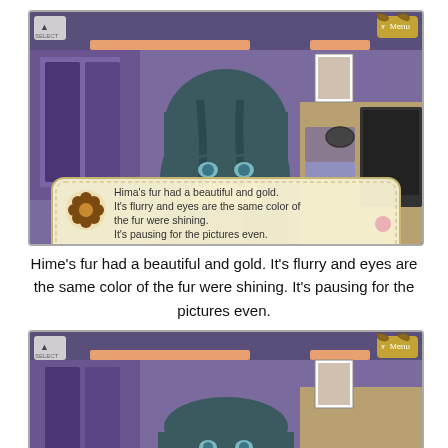[Figure (screenshot): Visual novel game screenshot showing an anime-style male character with dark teal hair in a bedroom setting. A dialogue box at the bottom reads: 'Hima's fur had a beautiful and gold. It's flurry and eyes are the same color of the fur were shining. It's pausing for the pictures even.' Game UI buttons visible at bottom.]
Hime's fur had a beautiful and gold. It's flurry and eyes are the same color of the fur were shining. It's pausing for the pictures even.
[Figure (screenshot): Second visual novel game screenshot showing the same anime-style male character with dark teal hair looking down, in the same bedroom setting. Partial view cut off at bottom.]